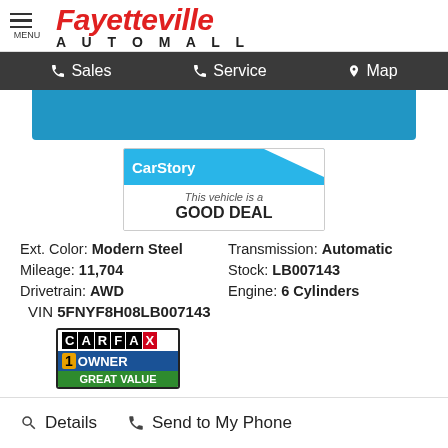[Figure (logo): Fayetteville Automall logo with menu icon]
Sales  Service  Map
[Figure (other): Blue banner area]
[Figure (other): CarStory badge: This vehicle is a GOOD DEAL]
Ext. Color: Modern Steel   Transmission: Automatic   Mileage: 11,704   Stock: LB007143   Drivetrain: AWD   Engine: 6 Cylinders   VIN 5FNYF8H08LB007143
[Figure (other): Carfax 1 Owner Great Value badge with icons]
Details  Send to My Phone